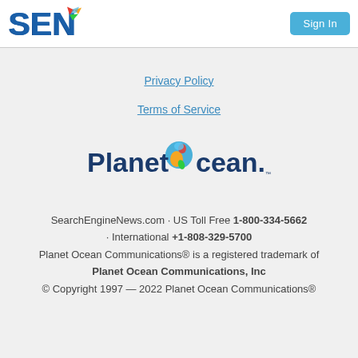[Figure (logo): SEN logo with colorful flag/leaf motif in top-left of header]
[Figure (other): Sign In button in top-right of header]
Privacy Policy
Terms of Service
[Figure (logo): Planet Ocean logo with colorful globe icon]
SearchEngineNews.com · US Toll Free 1-800-334-5662 · International +1-808-329-5700 Planet Ocean Communications® is a registered trademark of Planet Ocean Communications, Inc © Copyright 1997 — 2022 Planet Ocean Communications®